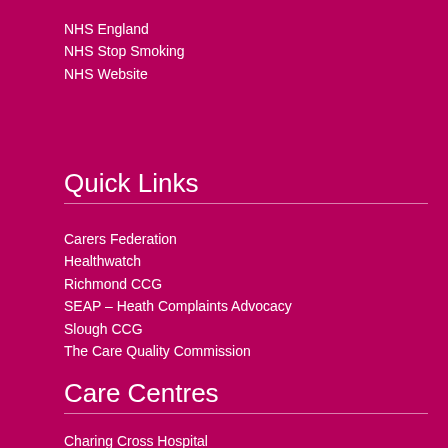NHS England
NHS Stop Smoking
NHS Website
Quick Links
Carers Federation
Healthwatch
Richmond CCG
SEAP – Heath Complaints Advocacy
Slough CCG
The Care Quality Commission
Care Centres
Charing Cross Hospital